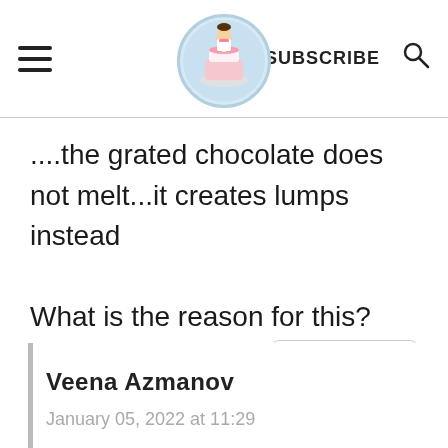Veena Azmanov — SUBSCRIBE [search icon]
....the grated chocolate does not melt...it creates lumps instead
What is the reason for this?
REPLY
Veena Azmanov
January 05, 2022 at 11:29